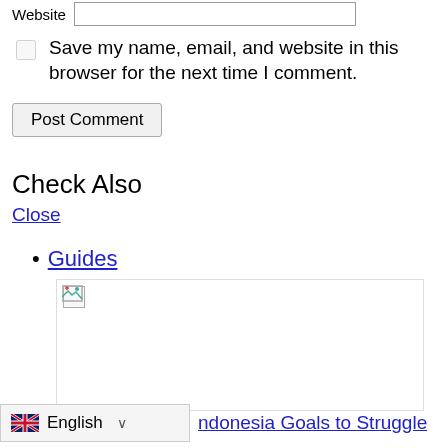Website [input field]
Save my name, email, and website in this browser for the next time I comment.
Post Comment
Check Also
Close
Guides
[Figure (photo): Image placeholder with broken image icon in top-left corner]
ndonesia Goals to Struggle
English (language selector with UK flag)